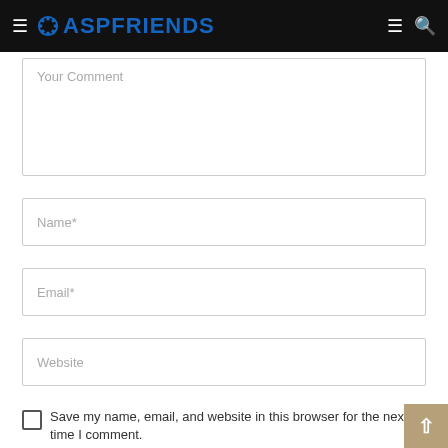ASPFRIENDS
Your Comment
Name*
Email*
Website
Save my name, email, and website in this browser for the next time I comment.